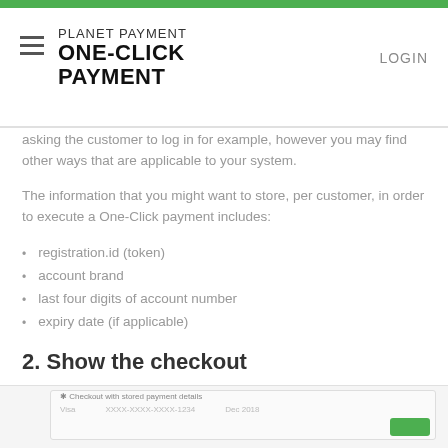PLANET PAYMENT ONE-CLICK PAYMENT
asking the customer to log in for example, however you may find other ways that are applicable to your system.
The information that you might want to store, per customer, in order to execute a One-Click payment includes:
registration.id (token)
account brand
last four digits of account number
expiry date (if applicable)
2. Show the checkout
Once you have retrieved the stored information, you should confirm with the customer how they wants to checkout. We recommend offering normal payment methods alongside your One-Click checkout page.
[Figure (screenshot): Screenshot of a checkout page showing stored payment details with Visa card, masked account number, and expiry date, with a green button.]